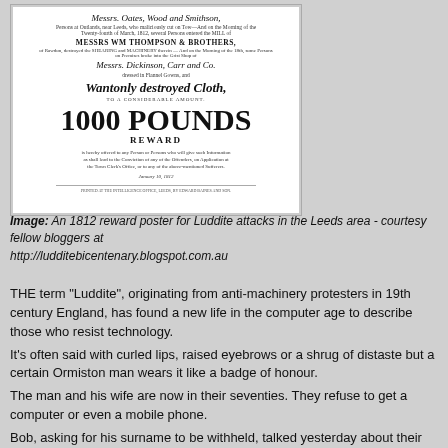[Figure (photo): An 1812 reward poster for Luddite attacks in the Leeds area, showing text including 'Messrs. Oates, Wood and Smithson', 'MESSRS WM THOMPSON & BROTHERS', 'Messrs. Dickinson, Carr and Co.', 'Wantonly destroyed Cloth', '1000 POUNDS REWARD']
Image: An 1812 reward poster for Luddite attacks in the Leeds area - courtesy fellow bloggers at http://ludditebicentenary.blogspot.com.au
THE term “Luddite”, originating from anti-machinery protesters in 19th century England, has found a new life in the computer age to describe those who resist technology.
It’s often said with curled lips, raised eyebrows or a shrug of distaste but a certain Ormiston man wears it like a badge of honour.
The man and his wife are now in their seventies. They refuse to get a computer or even a mobile phone.
Bob, asking for his surname to be withheld, talked yesterday about their increasing difficulty in day-to-day life.